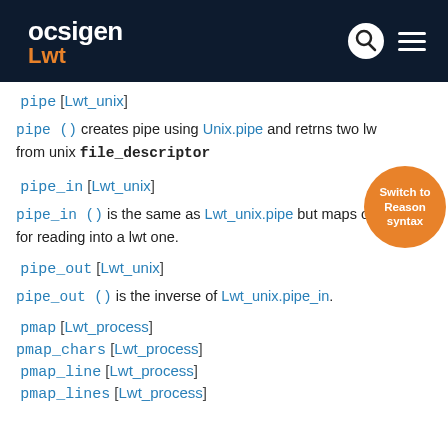ocsigen Lwt
pipe [Lwt_unix]
pipe () creates pipe using Unix.pipe and returns two lwt from unix file_descriptor
pipe_in [Lwt_unix]
pipe_in () is the same as Lwt_unix.pipe but maps on for reading into a lwt one.
pipe_out [Lwt_unix]
pipe_out () is the inverse of Lwt_unix.pipe_in.
pmap [Lwt_process]
pmap_chars [Lwt_process]
pmap_line [Lwt_process]
pmap_lines [Lwt_process]